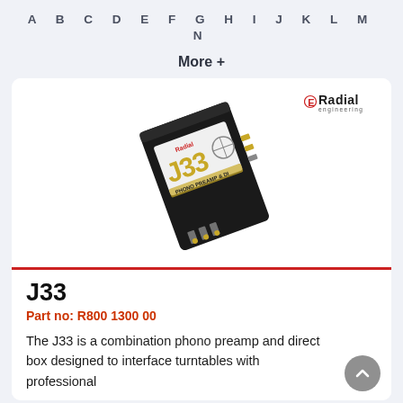A B C D E F G H I J K L M N
More +
[Figure (photo): Radial J33 phono preamp and direct box device, black rectangular unit with gold J33 lettering and Radial branding on top, viewed at an angle showing connectors on the sides.]
J33
Part no: R800 1300 00
The J33 is a combination phono preamp and direct box designed to interface turntables with professional